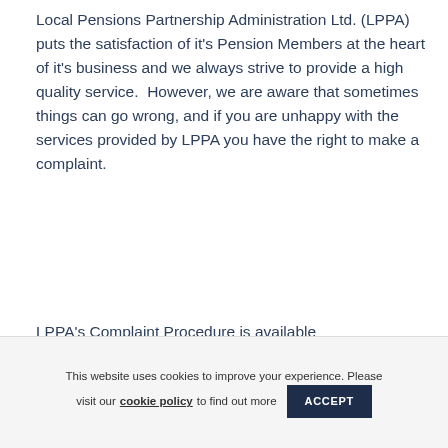Local Pensions Partnership Administration Ltd. (LPPA) puts the satisfaction of it's Pension Members at the heart of it's business and we always strive to provide a high quality service.  However, we are aware that sometimes things can go wrong, and if you are unhappy with the services provided by LPPA you have the right to make a complaint.
LPPA's Complaint Procedure is available
This website uses cookies to improve your experience. Please visit our cookie policy to find out more